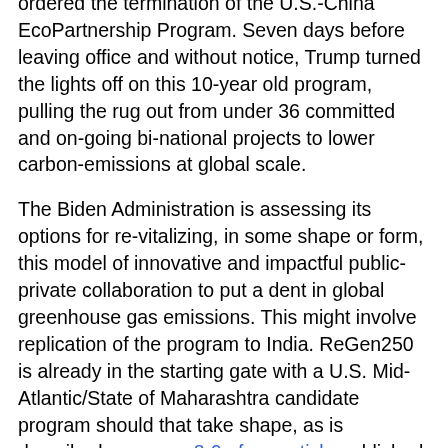ordered the termination of the U.S.-China EcoPartnership Program. Seven days before leaving office and without notice, Trump turned the lights off on this 10-year old program, pulling the rug out from under 36 committed and on-going bi-national projects to lower carbon-emissions at global scale.
The Biden Administration is assessing its options for re-vitalizing, in some shape or form, this model of innovative and impactful public-private collaboration to put a dent in global greenhouse gas emissions. This might involve replication of the program to India. ReGen250 is already in the starting gate with a U.S. Mid-Atlantic/State of Maharashtra candidate program should that take shape, as is described on pages 8-9 of our article published last month in the peer-reviewed science journal Environmental Progress and Sustainable Energy.